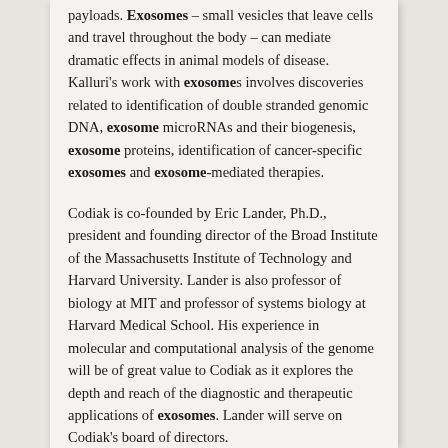payloads. Exosomes – small vesicles that leave cells and travel throughout the body – can mediate dramatic effects in animal models of disease. Kalluri's work with exosomes involves discoveries related to identification of double stranded genomic DNA, exosome microRNAs and their biogenesis, exosome proteins, identification of cancer-specific exosomes and exosome-mediated therapies.
Codiak is co-founded by Eric Lander, Ph.D., president and founding director of the Broad Institute of the Massachusetts Institute of Technology and Harvard University. Lander is also professor of biology at MIT and professor of systems biology at Harvard Medical School. His experience in molecular and computational analysis of the genome will be of great value to Codiak as it explores the depth and reach of the diagnostic and therapeutic applications of exosomes. Lander will serve on Codiak's board of directors.
The company announced that Douglas E. Williams, Ph.D., has joined Codiak BioSciences as its founding president and chief executive officer. He